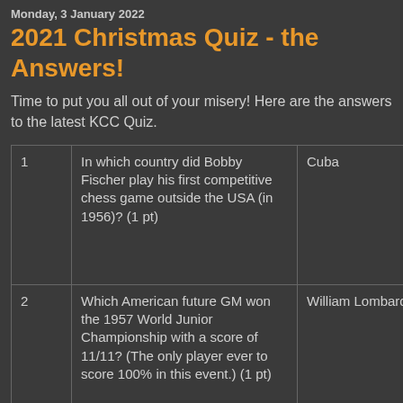Monday, 3 January 2022
2021 Christmas Quiz - the Answers!
Time to put you all out of your misery! Here are the answers to the latest KCC Quiz.
| # | Question | Answer |
| --- | --- | --- |
| 1 | In which country did Bobby Fischer play his first competitive chess game outside the USA (in 1956)? (1 pt) | Cuba |
| 2 | Which American future GM won the 1957 World Junior Championship with a score of 11/11? (The only player ever to score 100% in this event.) (1 pt) | William Lombardy |
| 3 | What connection with the chess world do the following have:- |  |